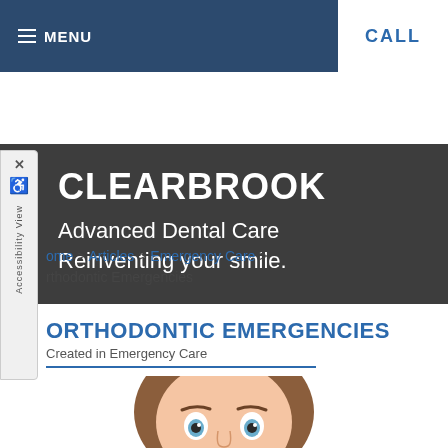MENU  CALL
CLEARBROOK
Advanced Dental Care
Reinventing your smile.
Home > Articles > Emergency Care > Orthodontic Emergencies
ORTHODONTIC EMERGENCIES
Created in Emergency Care
[Figure (photo): Young woman with wide surprised eyes looking upward, brown hair, white background]